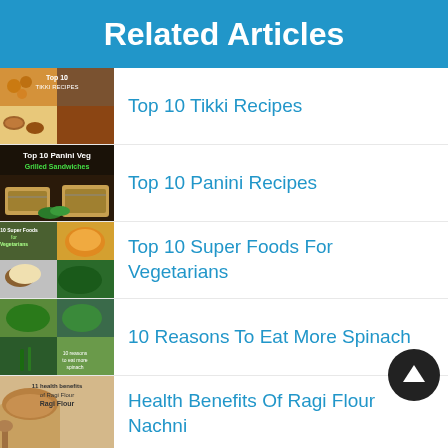Related Articles
Top 10 Tikki Recipes
Top 10 Panini Recipes
Top 10 Super Foods For Vegetarians
10 Reasons To Eat More Spinach
Health Benefits Of Ragi Flour Nachni